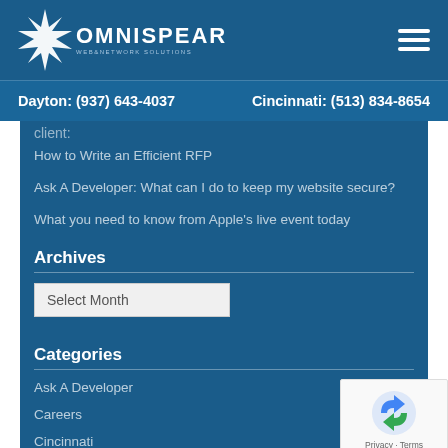[Figure (logo): Omnispear Web & Network Solutions logo with star/spear graphic and company name]
Dayton:  (937) 643-4037     Cincinnati:  (513) 834-8654
client:
How to Write an Efficient RFP
Ask A Developer: What can I do to keep my website secure?
What you need to know from Apple's live event today
Archives
Select Month
Categories
Ask A Developer
Careers
Cincinnati